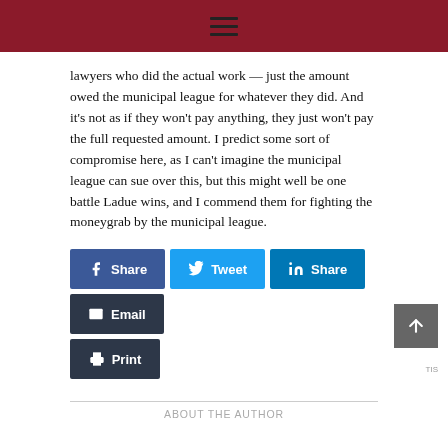navigation menu
lawyers who did the actual work — just the amount owed the municipal league for whatever they did. And it's not as if they won't pay anything, they just won't pay the full requested amount. I predict some sort of compromise here, as I can't imagine the municipal league can sue over this, but this might well be one battle Ladue wins, and I commend them for fighting the moneygrab by the municipal league.
[Figure (other): Social share buttons: Facebook Share, Twitter Tweet, LinkedIn Share, Email, Print]
ABOUT THE AUTHOR